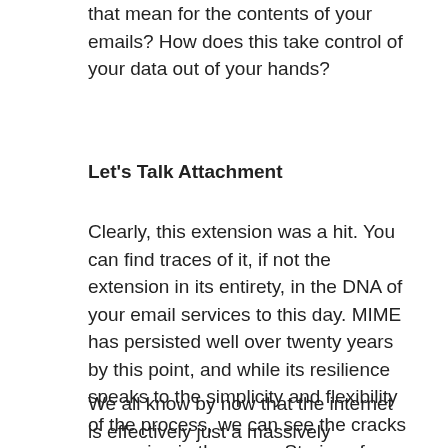that mean for the contents of your emails? How does this take control of your data out of your hands?
Let's Talk Attachment
Clearly, this extension was a hit. You can find traces of it, if not the extension in its entirety, in the DNA of your email services to this day. MIME has persisted well over twenty years by this point, and while its resilience speaks to the simplicity and flexibility of the process, we can see the cracks appearing in the news. Stories of email server hacks show us what MIME's biggest weakness is: centralization.
We all know by now that the internet is effectively just a massively interconnected